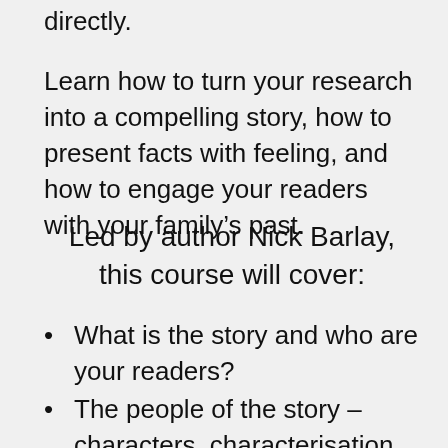directly.
Learn how to turn your research into a compelling story, how to present facts with feeling, and how to engage your readers with your family’s past.
Led by author Nick Barlay, this course will cover:
What is the story and who are your readers?
The people of the story – characters, characterisation and representation.